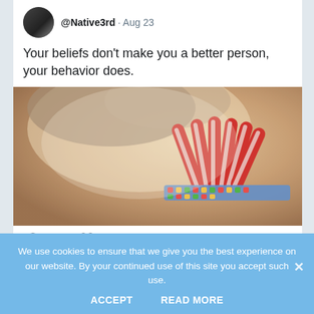@Native3rd · Aug 23
Your beliefs don't make you a better person, your behavior does.
[Figure (photo): Close-up photograph of a Native American headdress showing red and white striped feathers with beaded band decoration]
33  4K
Pres Sisters NE Retweeted
We use cookies to ensure that we give you the best experience on our website. By your continued use of this site you accept such use.
ACCEPT  READ MORE